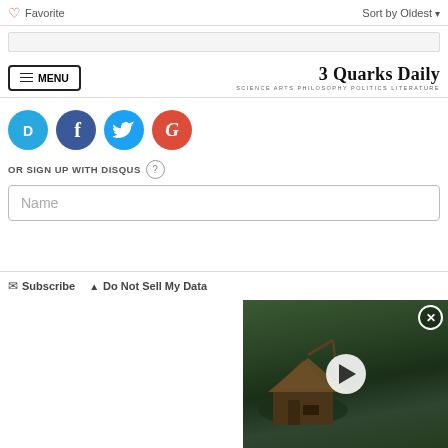Favorite   Sort by Oldest
[Figure (logo): 3 Quarks Daily site header with MENU button and site title/tagline: SCIENCE ARTS PHILOSOPHY POLITICS LITERATURE]
[Figure (infographic): Social login icons: Disqus (blue D), Facebook (dark blue f), Twitter (light blue bird), Google (red G)]
OR SIGN UP WITH DISQUS ?
Name
Be the first to comment.
Subscribe   Do Not Sell My Data
[Figure (screenshot): Video overlay showing a forest hut/shelter scene with a play button, and an X close button in top-right corner]